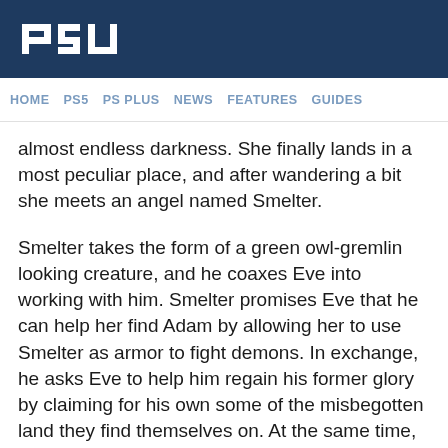PSU
HOME   PS5   PS PLUS   NEWS   FEATURES   GUIDES
almost endless darkness. She finally lands in a most peculiar place, and after wandering a bit she meets an angel named Smelter.
Smelter takes the form of a green owl-gremlin looking creature, and he coaxes Eve into working with him. Smelter promises Eve that he can help her find Adam by allowing her to use Smelter as armor to fight demons. In exchange, he asks Eve to help him regain his former glory by claiming for his own some of the misbegotten land they find themselves on. At the same time, he's constantly talking out the side of his mouth to get what he wants before Eve gets anything in